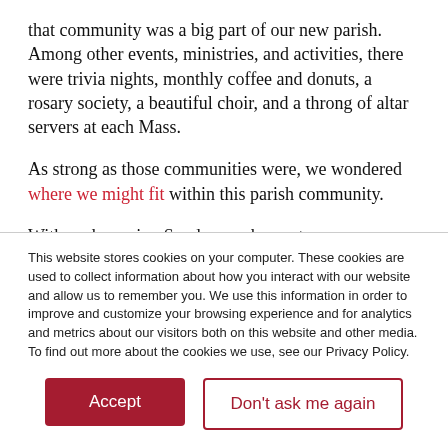that community was a big part of our new parish. Among other events, ministries, and activities, there were trivia nights, monthly coffee and donuts, a rosary society, a beautiful choir, and a throng of altar servers at each Mass.
As strong as those communities were, we wondered where we might fit within this parish community.
With each passing Sunday, we began to see more familiar faces and a growing population of fellow young adults at church. Like us, many of them would stick around for a few minutes after Mass, chatting in small groups of friends. There was an appetite for community, but we needed a simple
This website stores cookies on your computer. These cookies are used to collect information about how you interact with our website and allow us to remember you. We use this information in order to improve and customize your browsing experience and for analytics and metrics about our visitors both on this website and other media. To find out more about the cookies we use, see our Privacy Policy.
Accept
Don't ask me again